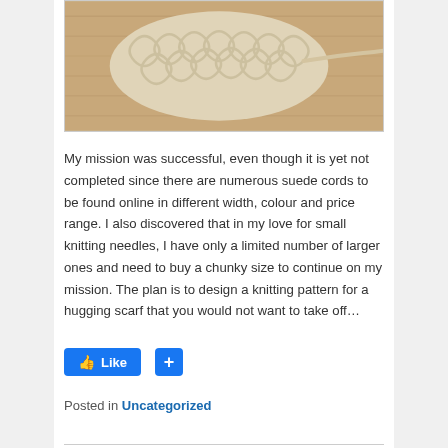[Figure (photo): A knitted fabric swatch made from suede cord or t-shirt yarn, showing a chunky weave/knit texture in beige/cream color, laid on a wooden surface with a cord trailing off to the right.]
My mission was successful, even though it is yet not completed since there are numerous suede cords to be found online in different width, colour and price range. I also discovered that in my love for small knitting needles, I have only a limited number of larger ones and need to buy a chunky size to continue on my mission. The plan is to design a knitting pattern for a hugging scarf that you would not want to take off…
Posted in Uncategorized